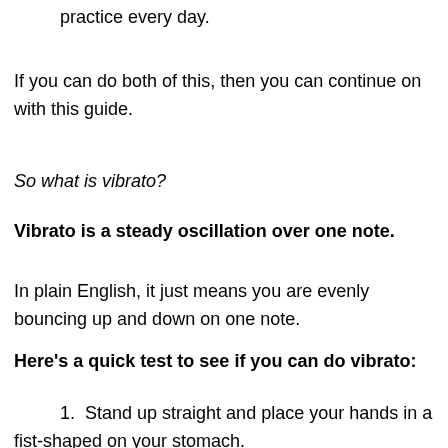practice every day.
If you can do both of this, then you can continue on with this guide.
So what is vibrato?
Vibrato is a steady oscillation over one note.
In plain English, it just means you are evenly bouncing up and down on one note.
Here’s a quick test to see if you can do vibrato:
1. Stand up straight and place your hands in a fist-shaped on your stomach.